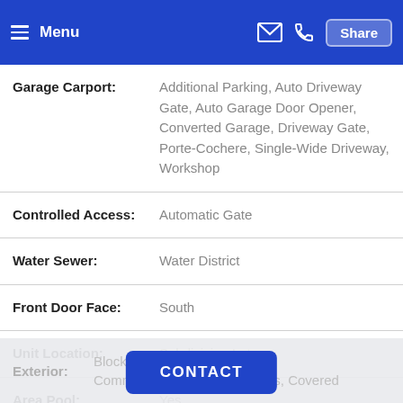Menu | Share
| Property | Value |
| --- | --- |
| Garage Carport: | Additional Parking, Auto Driveway Gate, Auto Garage Door Opener, Converted Garage, Driveway Gate, Porte-Cochere, Single-Wide Driveway, Workshop |
| Controlled Access: | Automatic Gate |
| Water Sewer: | Water District |
| Front Door Face: | South |
| Unit Location: | Subdivision Lot |
| Area Pool: | Yes |
| Exterior: | Block, Fenced, Balcony, Common Walls, Built-In Access, Covered |